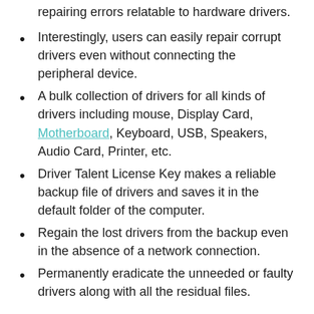repairing errors relatable to hardware drivers.
Interestingly, users can easily repair corrupt drivers even without connecting the peripheral device.
A bulk collection of drivers for all kinds of drivers including mouse, Display Card, Motherboard, Keyboard, USB, Speakers, Audio Card, Printer, etc.
Driver Talent License Key makes a reliable backup file of drivers and saves it in the default folder of the computer.
Regain the lost drivers from the backup even in the absence of a network connection.
Permanently eradicate the unneeded or faulty drivers along with all the residual files.